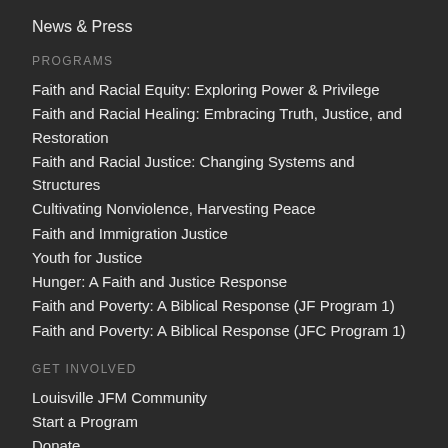News & Press
PROGRAMS
Faith and Racial Equity: Exploring Power & Privilege
Faith and Racial Healing: Embracing Truth, Justice, and Restoration
Faith and Racial Justice: Changing Systems and Structures
Cultivating Nonviolence, Harvesting Peace
Faith and Immigration Justice
Youth for Justice
Hunger: A Faith and Justice Response
Faith and Poverty: A Biblical Response (JF Program 1)
Faith and Poverty: A Biblical Response (JFC Program 1)
GET INVOLVED
Louisville JFM Community
Start a Program
Donate